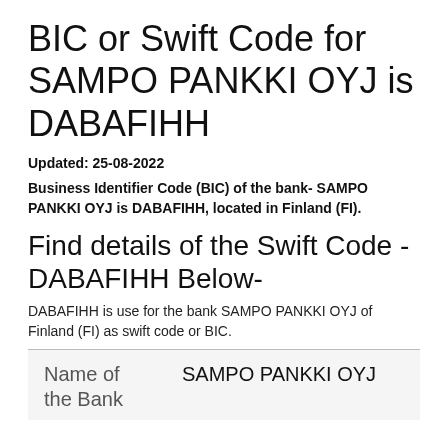BIC or Swift Code for SAMPO PANKKI OYJ is DABAFIHH
Updated: 25-08-2022
Business Identifier Code (BIC) of the bank- SAMPO PANKKI OYJ is DABAFIHH, located in Finland (FI).
Find details of the Swift Code - DABAFIHH Below-
DABAFIHH is use for the bank SAMPO PANKKI OYJ of Finland (FI) as swift code or BIC.
| Name of the Bank |  |
| --- | --- |
| Name of the Bank | SAMPO PANKKI OYJ |